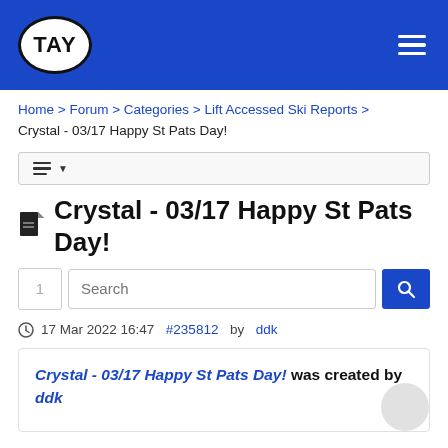TAY
Home > Forum > Categories > Lift Accessed Ski Reports > Crystal - 03/17 Happy St Pats Day!
[Figure (screenshot): Toolbar menu button with three horizontal lines and a dropdown arrow]
Crystal - 03/17 Happy St Pats Day!
1  Search
17 Mar 2022 16:47 #235812 by ddk
Crystal - 03/17 Happy St Pats Day! was created by ddk